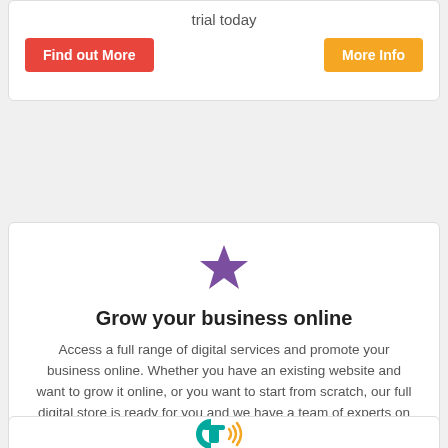trial today
Find out More
More Info
[Figure (illustration): Purple star icon]
Grow your business online
Access a full range of digital services and promote your business online. Whether you have an existing website and want to grow it online, or you want to start from scratch, our full digital store is ready for you and we have a team of experts on standby to help your online dreams come true!
Check it out
[Figure (logo): Teal and orange logo with stylized CT letters and sound waves]